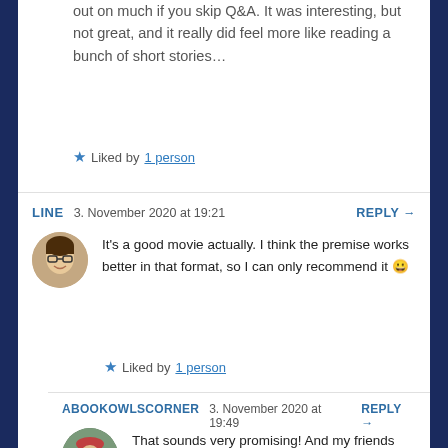out on much if you skip Q&A. It was interesting, but not great, and it really did feel more like reading a bunch of short stories…
★ Liked by 1 person
LINE  3. November 2020 at 19:21  REPLY →
It's a good movie actually. I think the premise works better in that format, so I can only recommend it 😀
★ Liked by 1 person
ABOOKOWLSCORNER  3. November 2020 at 19:49  REPLY →
That sounds very promising! And my friends had initially floated around the